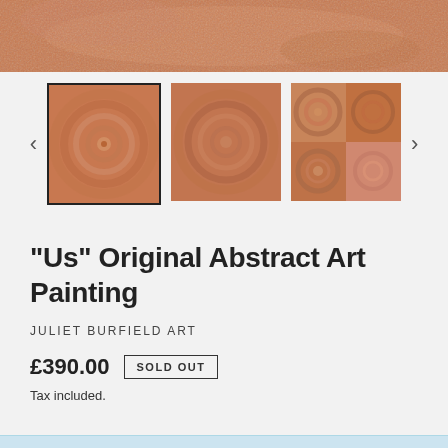[Figure (photo): Close-up photo of abstract painting with warm orange-brown swirling textures, shown as main hero image at top]
[Figure (photo): Thumbnail gallery row showing three views of the abstract painting: first thumbnail selected with black border showing swirl detail, second thumbnail showing similar swirl, third thumbnail showing 2x2 grid collage of four painting details. Navigation arrows on left and right.]
"Us" Original Abstract Art Painting
JULIET BURFIELD ART
£390.00  SOLD OUT
Tax included.